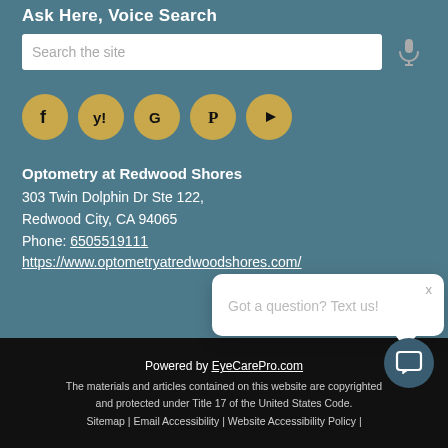Ask Here, Voice Search
[Figure (screenshot): Search box with placeholder text 'Search the site' and a microphone icon to the right]
[Figure (infographic): Row of five gold social media icon circles: Facebook, Yelp, Google, Pinterest, YouTube]
Optometry at Redwood Shores
303 Twin Dolphin Dr Ste 122,
Redwood City, CA 94065
Phone: 6505519111
https://www.optometryatredwoodshores.com/
Powered by EyeCarePro.com
The materials and articles contained on this website are copyrighted and protected under Title 17 of the United States Code.
Sitemap | Email Accessibility | Website Accessibility Policy |
[Figure (screenshot): Chat popup overlay reading 'Got a question? Text us!' with close X button and speech bubble tail, plus a circular chat button below]